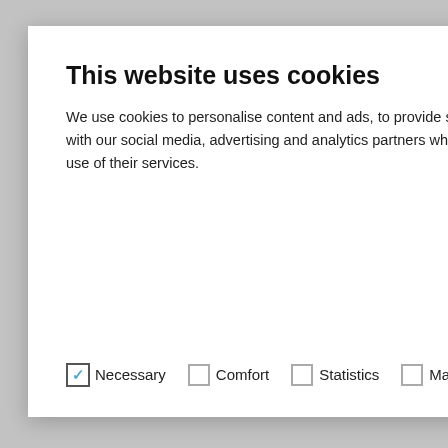This website uses cookies
We use cookies to personalise content and ads, to provide social media features and to analyse our traffic. We also share information about your use of our site with our social media, advertising and analytics partners who may combine it with other information that you've provided to them or that they've collected from your use of their services.
Allow selection
Allow all
✓ Necessary  □ Comfort  □ Statistics  □ Marketing  Show details
their practicality inclined minds. Since built-in appliances do
Contact us   Enquiry   Catalogues   eShop